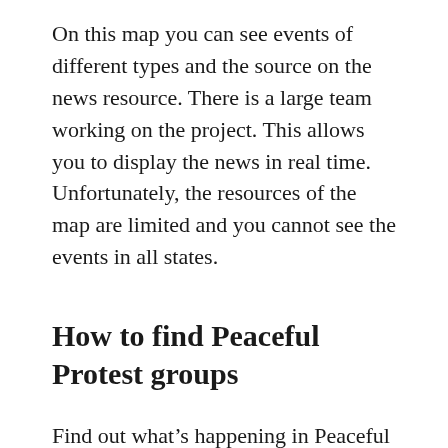On this map you can see events of different types and the source on the news resource. There is a large team working on the project. This allows you to display the news in real time. Unfortunately, the resources of the map are limited and you cannot see the events in all states.
How to find Peaceful Protest groups
Find out what's happening in Peaceful Protest Meetup groups around the world and start meeting up with the ones near you.